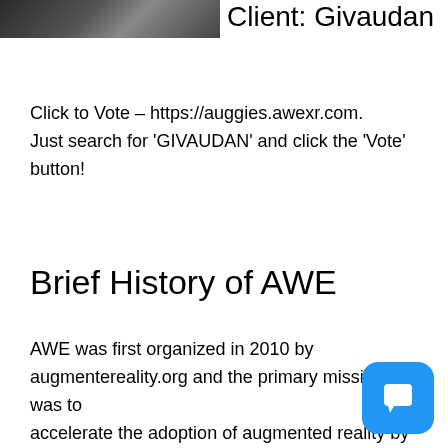[Figure (photo): Partial photo of a document or laptop, cropped at top-left]
Client: Givaudan
Click to Vote – https://auggies.awexr.com. Just search for 'GIVAUDAN' and click the 'Vote' button!
Brief History of AWE
AWE was first organized in 2010 by augmentereality.org and the primary mission was to accelerate the adoption of augmented reality by bringing together the industry: developers, cr founders, product leads, C-level executives, enthusiasts, media, and analysts.